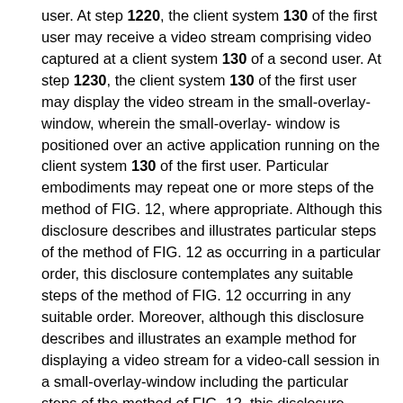user. At step 1220, the client system 130 of the first user may receive a video stream comprising video captured at a client system 130 of a second user. At step 1230, the client system 130 of the first user may display the video stream in the small-overlay-window, wherein the small-overlay-window is positioned over an active application running on the client system 130 of the first user. Particular embodiments may repeat one or more steps of the method of FIG. 12, where appropriate. Although this disclosure describes and illustrates particular steps of the method of FIG. 12 as occurring in a particular order, this disclosure contemplates any suitable steps of the method of FIG. 12 occurring in any suitable order. Moreover, although this disclosure describes and illustrates an example method for displaying a video stream for a video-call session in a small-overlay-window including the particular steps of the method of FIG. 12, this disclosure contemplates any suitable method for displaying a video stream for a video-call session in a small-overlay-window including any suitable steps, which may include all, some, or none of the steps of the method of FIG. 12, where appropriate. Furthermore, although this disclosure describes and illustrates particular components, devices, or systems